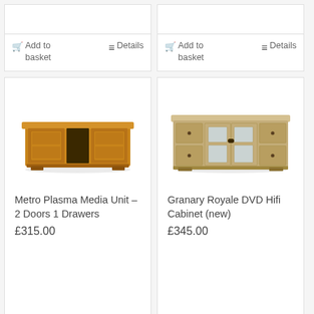[Figure (screenshot): Top portion of two product cards partially visible, showing 'Add to basket' and 'Details' action buttons with a divider line above them.]
Add to basket
Details
Add to basket
Details
[Figure (photo): Metro Plasma Media Unit – 2 Doors 1 Drawers: a wooden TV media unit with two side doors and a central open cubby, rustic brown finish.]
Metro Plasma Media Unit – 2 Doors 1 Drawers
£315.00
[Figure (photo): Granary Royale DVD Hifi Cabinet (new): a wide wooden cabinet with glass-fronted centre doors and multiple side drawers, light oak finish.]
Granary Royale DVD Hifi Cabinet (new)
£345.00